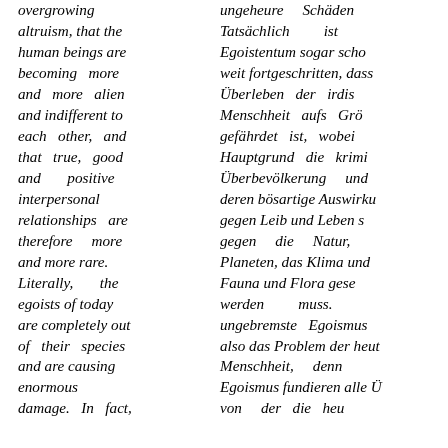overgrowing altruism, that the human beings are becoming more and more alien and indifferent to each other, and that true, good and positive interpersonal relationships are therefore more and more rare. Literally, the egoists of today are completely out of their species and are causing enormous damage. In fact,
ungeheure Schäden Tatsächlich ist Egoistentum sogar schon weit fortgeschritten, dass Überleben der irdischen Menschheit aufs Größte gefährdet ist, wobei der Hauptgrund die kriminelle Überbevölkerung und deren bösartige Auswirkungen gegen Leib und Leben sowie gegen die Natur, den Planeten, das Klima und die Fauna und Flora gesehen werden muss. ungebremste Egoismus ist also das Problem der heutigen Menschheit, denn durch Egoismus fundieren alle Übel, von der die heutige